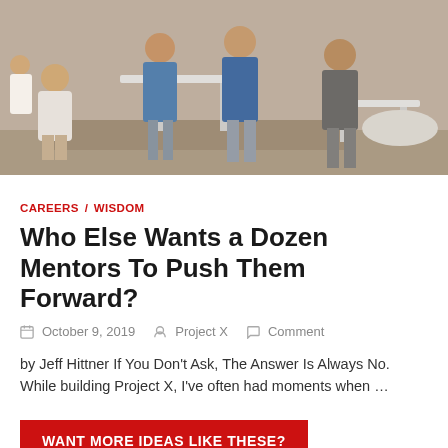[Figure (photo): Office/workspace scene with multiple people standing and sitting around white tables in a modern open office environment]
CAREERS / WISDOM
Who Else Wants a Dozen Mentors To Push Them Forward?
October 9, 2019   Project X   Comment
by Jeff Hittner If You Don't Ask, The Answer Is Always No. While building Project X, I've often had moments when …
WANT MORE IDEAS LIKE THESE?
Join our community and start receiving our freshest